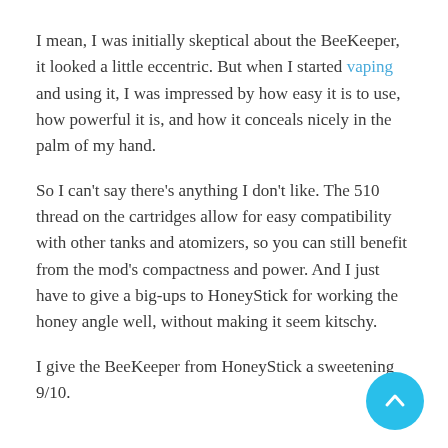I mean, I was initially skeptical about the BeeKeeper, it looked a little eccentric. But when I started vaping and using it, I was impressed by how easy it is to use, how powerful it is, and how it conceals nicely in the palm of my hand.
So I can't say there's anything I don't like. The 510 thread on the cartridges allow for easy compatibility with other tanks and atomizers, so you can still benefit from the mod's compactness and power. And I just have to give a big-ups to HoneyStick for working the honey angle well, without making it seem kitschy.
I give the BeeKeeper from HoneyStick a sweetening 9/10.